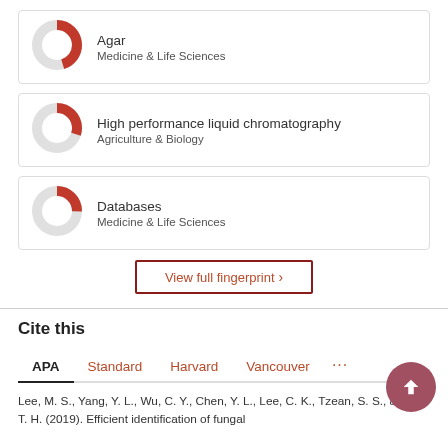[Figure (donut-chart): Donut chart for Agar, approximately 70% filled red, category Medicine & Life Sciences]
Agar
Medicine & Life Sciences
[Figure (donut-chart): Donut chart for High performance liquid chromatography, approximately 55% filled red, category Agriculture & Biology]
High performance liquid chromatography
Agriculture & Biology
[Figure (donut-chart): Donut chart for Databases, approximately 50% filled red, category Medicine & Life Sciences]
Databases
Medicine & Life Sciences
View full fingerprint ›
Cite this
APA  Standard  Harvard  Vancouver  ...
Lee, M. S., Yang, Y. L., Wu, C. Y., Chen, Y. L., Lee, C. K., Tzean, S. S., & Lee, T. H. (2019). Efficient identification of fungal